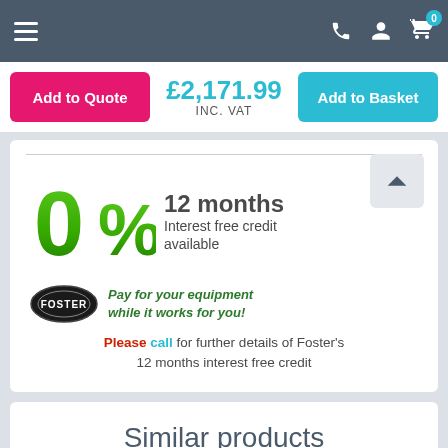Navigation bar with hamburger menu, phone, account, and basket icons
Add to Quote  £2,171.99 INC. VAT  Add to Basket
[Figure (infographic): 0% 12 months Interest free credit available. Foster logo with text: Pay for your equipment while it works for you! Please call for further details of Foster's 12 months interest free credit.]
Similar products